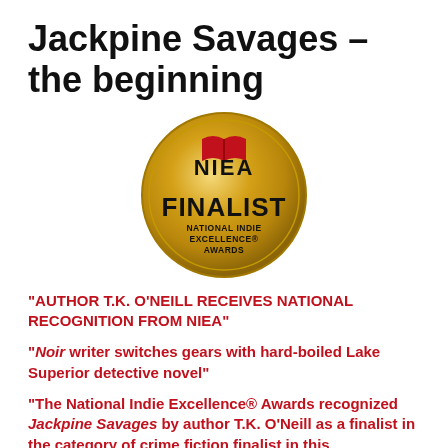Jackpine Savages – the beginning
[Figure (logo): NIEA Finalist badge – gold coin with red and black text reading NIEA FINALIST NATIONAL INDIE EXCELLENCE AWARDS]
“AUTHOR T.K. O’NEILL RECEIVES NATIONAL RECOGNITION FROM NIEA”
“Noir writer switches gears with hard-boiled Lake Superior detective novel”
“The National Indie Excellence® Awards recognized Jackpine Savages by author T.K. O’Neill as a finalist in the category of crime fiction finalist in this